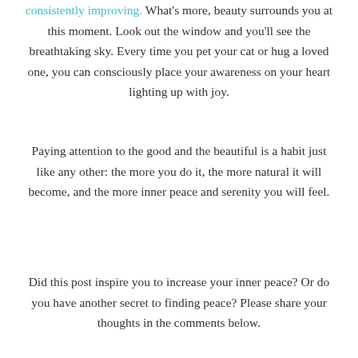consistently improving. What's more, beauty surrounds you at this moment. Look out the window and you'll see the breathtaking sky. Every time you pet your cat or hug a loved one, you can consciously place your awareness on your heart lighting up with joy.
Paying attention to the good and the beautiful is a habit just like any other: the more you do it, the more natural it will become, and the more inner peace and serenity you will feel.
Did this post inspire you to increase your inner peace? Or do you have another secret to finding peace? Please share your thoughts in the comments below.